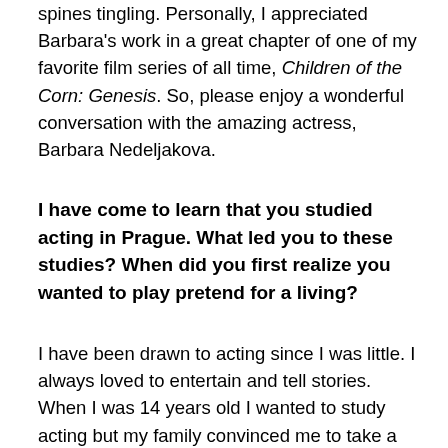spines tingling. Personally, I appreciated Barbara's work in a great chapter of one of my favorite film series of all time, Children of the Corn: Genesis. So, please enjoy a wonderful conversation with the amazing actress, Barbara Nedeljakova.
I have come to learn that you studied acting in Prague. What led you to these studies? When did you first realize you wanted to play pretend for a living?
I have been drawn to acting since I was little. I always loved to entertain and tell stories. When I was 14 years old I wanted to study acting but my family convinced me to take a bit more serious approach towards life. I ended up studying jewelry design which I loved and I still enjoy to do oil paintings sometimes. But my main passion for acting